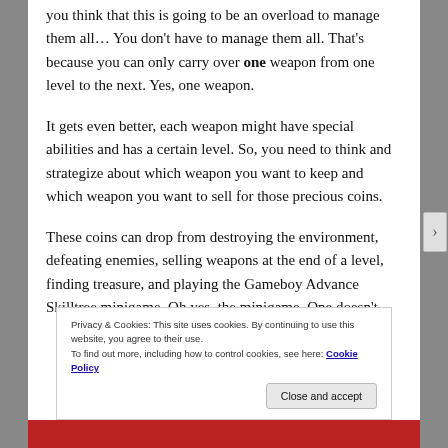you think that this is going to be an overload to manage them all... You don't have to manage them all. That's because you can only carry over one weapon from one level to the next. Yes, one weapon.
It gets even better, each weapon might have special abilities and has a certain level. So, you need to think and strategize about which weapon you want to keep and which weapon you want to sell for those precious coins.
These coins can drop from destroying the environment, defeating enemies, selling weapons at the end of a level, finding treasure, and playing the Gameboy Advance Skilltree minigame. Oh yes, the minigame. One doesn't
Privacy & Cookies: This site uses cookies. By continuing to use this website, you agree to their use.
To find out more, including how to control cookies, see here: Cookie Policy